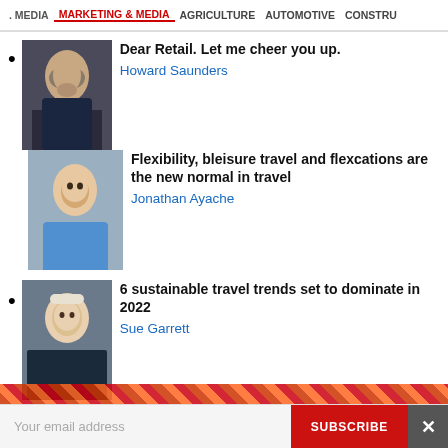. MEDIA | MARKETING & MEDIA | AGRICULTURE | AUTOMOTIVE | CONSTRU
Dear Retail. Let me cheer you up. — Howard Saunders
Flexibility, bleisure travel and flexcations are the new normal in travel — Jonathan Ayache
6 sustainable travel trends set to dominate in 2022 — Sue Garrett
The rise and rise of aparthotels — Andrew Rogers
10 insights impacting hospitality and global travel for 2022
Your email address
SUBSCRIBE